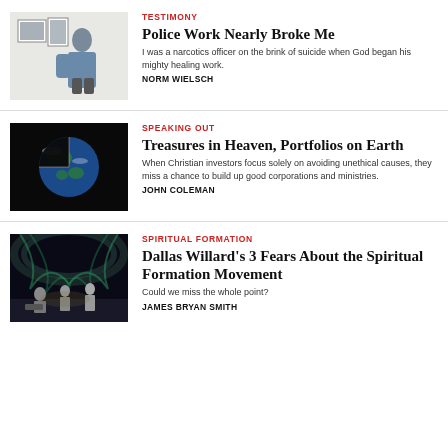[Figure (photo): Photo of a man standing in a room with framed items on the wall behind him, wearing a blue short-sleeve shirt]
TESTIMONY
Police Work Nearly Broke Me
I was a narcotics officer on the brink of suicide when God began his mighty healing work.
NORM WIELSCH
[Figure (photo): Photo of the Earth from space against a black background, showing a wedge/slice shape]
SPEAKING OUT
Treasures in Heaven, Portfolios on Earth
When Christian investors focus solely on avoiding unethical causes, they miss a chance to build up good corporations and ministries.
JOHN COLEMAN
[Figure (photo): Photo of a theatrical stage performance with figures illuminated by dramatic lighting against a dark background]
SPIRITUAL FORMATION
Dallas Willard's 3 Fears About the Spiritual Formation Movement
Could we miss the whole point?
JAMES BRYAN SMITH